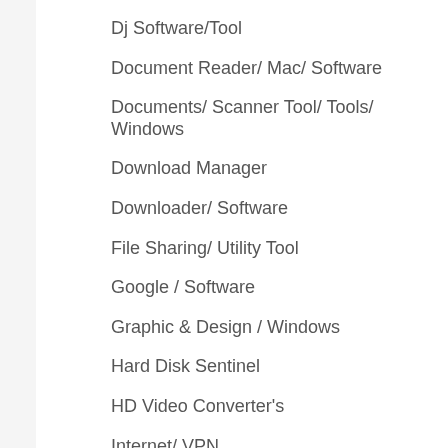Dj Software/Tool
Document Reader/ Mac/ Software
Documents/ Scanner Tool/ Tools/ Windows
Download Manager
Downloader/ Software
File Sharing/ Utility Tool
Google / Software
Graphic & Design / Windows
Hard Disk Sentinel
HD Video Converter's
Internet/ VPN